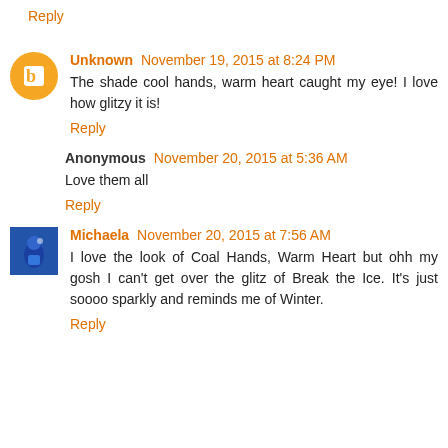Reply
Unknown November 19, 2015 at 8:24 PM
The shade cool hands, warm heart caught my eye! I love how glitzy it is!
Reply
Anonymous November 20, 2015 at 5:36 AM
Love them all
Reply
Michaela November 20, 2015 at 7:56 AM
I love the look of Coal Hands, Warm Heart but ohh my gosh I can't get over the glitz of Break the Ice. It's just soooo sparkly and reminds me of Winter.
Reply